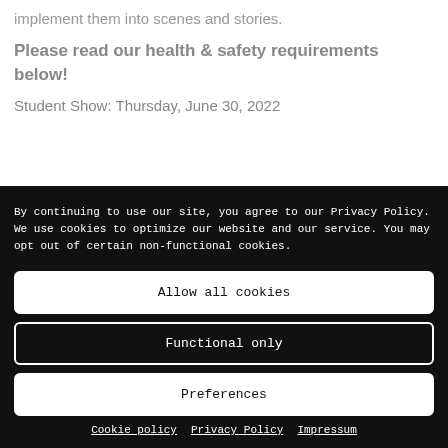implement them into scenes and stories.
Please read our health & safety requirements below!
Student Show: Thursday, June 30, 2022
By continuing to use our site, you agree to our Privacy Policy. We use cookies to optimize our website and our service. You may opt out of certain non-functional cookies.
Allow all cookies
Functional only
Preferences
Cookie policy   Privacy Policy   Impressum